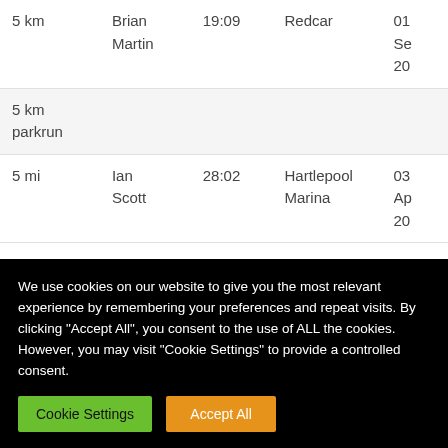| Distance | Name | Time | Venue | Date |
| --- | --- | --- | --- | --- |
| 5 km | Brian Martin | 19:09 | Redcar | 01 Se 20... |
| 5 km parkrun |  |  |  |  |
| 5 mi | Ian Scott | 28:02 | Hartlepool Marina | 03 Ap 20... |
We use cookies on our website to give you the most relevant experience by remembering your preferences and repeat visits. By clicking "Accept All", you consent to the use of ALL the cookies. However, you may visit "Cookie Settings" to provide a controlled consent.